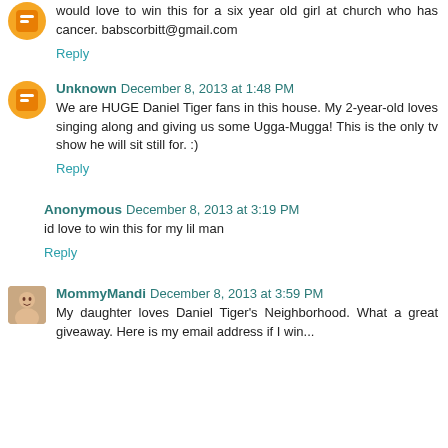would love to win this for a six year old girl at church who has cancer. babscorbitt@gmail.com
Reply
Unknown December 8, 2013 at 1:48 PM
We are HUGE Daniel Tiger fans in this house. My 2-year-old loves singing along and giving us some Ugga-Mugga! This is the only tv show he will sit still for. :)
Reply
Anonymous December 8, 2013 at 3:19 PM
id love to win this for my lil man
Reply
MommyMandi December 8, 2013 at 3:59 PM
My daughter loves Daniel Tiger's Neighborhood. What a great giveaway. Here is my email address if I win...